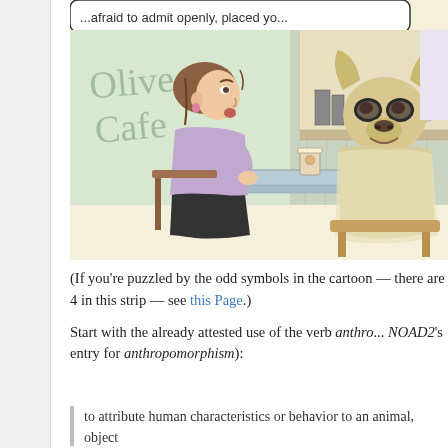[Figure (illustration): A comic strip panel showing a woman with short hair sitting at a cafe table across from a dog (French Bulldog) wearing clothes. Both have coffee cups on the table. The cafe is named 'Olive Cafe' visible on the window. There is a speech bubble partially visible at the top. The artist signature reads 'PIRO' with date '8-23'. The scene depicts an anthropomorphized dog in a coffee shop conversation.]
(If you're puzzled by the odd symbols in the cartoon — there are 4 in this strip — see this Page.)
Start with the already attested use of the verb anthropo... NOAD2's entry for anthropomorphism):
to attribute human characteristics or behavior to an animal, object